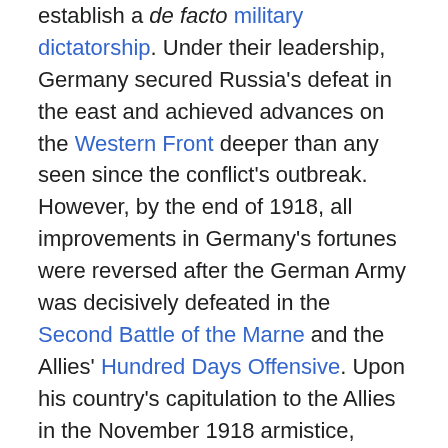establish a de facto military dictatorship. Under their leadership, Germany secured Russia's defeat in the east and achieved advances on the Western Front deeper than any seen since the conflict's outbreak. However, by the end of 1918, all improvements in Germany's fortunes were reversed after the German Army was decisively defeated in the Second Battle of the Marne and the Allies' Hundred Days Offensive. Upon his country's capitulation to the Allies in the November 1918 armistice, Hindenburg stepped down as Germany's commander-in-chief before retiring once again from military service in 1919.
In 1925, Hindenburg returned to public life to become the second elected president of the German Weimar Republic. While he was personally opposed to Adolf Hitler and his Nazi Party, he nonetheless played a major role in the political instability that resulted in their rise to power. Upon twice dissolving the Reichstag in 1932, Hindenburg